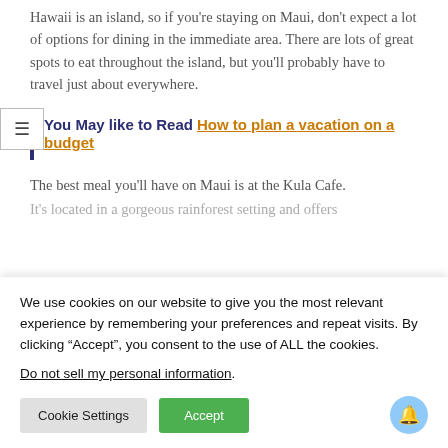Hawaii is an island, so if you're staying on Maui, don't expect a lot of options for dining in the immediate area. There are lots of great spots to eat throughout the island, but you'll probably have to travel just about everywhere.
You May like to Read How to plan a vacation on a budget
The best meal you'll have on Maui is at the Kula Cafe. It's located in a gorgeous rainforest setting and offers
We use cookies on our website to give you the most relevant experience by remembering your preferences and repeat visits. By clicking “Accept”, you consent to the use of ALL the cookies.
Do not sell my personal information.